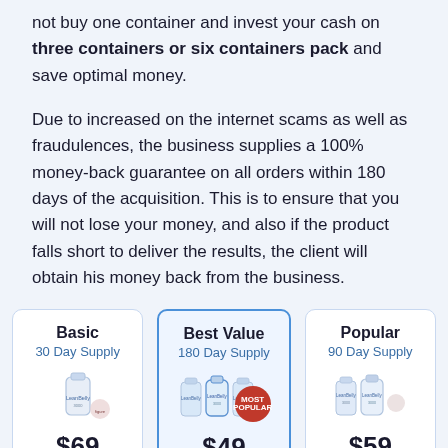not buy one container and invest your cash on three containers or six containers pack and save optimal money.
Due to increased on the internet scams as well as fraudulences, the business supplies a 100% money-back guarantee on all orders within 180 days of the acquisition. This is to ensure that you will not lose your money, and also if the product falls short to deliver the results, the client will obtain his money back from the business.
[Figure (infographic): Three product pricing cards side by side: Basic (30 Day Supply), Best Value (180 Day Supply, highlighted), Popular (90 Day Supply). Each card shows bottle illustrations and a price starting with $ signs (partially cut off). The Best Value card has a 'MOST POPULAR' badge.]